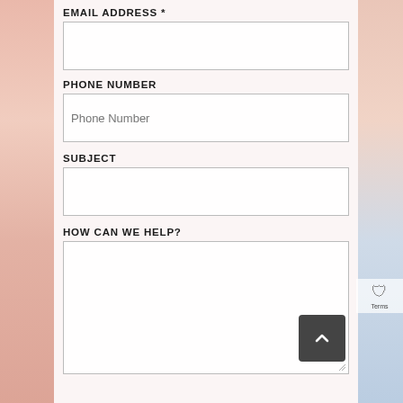EMAIL ADDRESS *
PHONE NUMBER
Phone Number
SUBJECT
HOW CAN WE HELP?
Terms